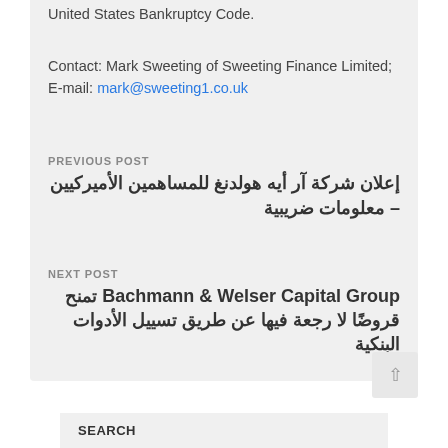United States Bankruptcy Code.
Contact: Mark Sweeting of Sweeting Finance Limited; E-mail: mark@sweeting1.co.uk
PREVIOUS POST
إعلان شركة آر أيه هولدنغ للمساهمين الأميركيين – معلومات ضريبية
NEXT POST
Bachmann & Welser Capital Group تمنح قروضًا لا رجعة فيها عن طريق تسييل الأدوات البنكية
SEARCH